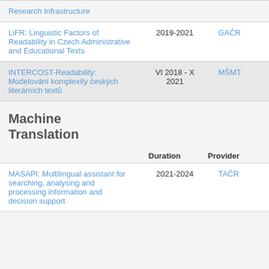| Project | Duration | Provider |
| --- | --- | --- |
| Research Infrastructure |  |  |
| LiFR: Linguistic Factors of Readability in Czech Administrative and Educational Texts | 2019-2021 | GAČR |
| INTERCOST-Readability: Modelování komplexity českých literárních textů | VI 2018 - X 2021 | MŠMT |
Machine Translation
| Project | Duration | Provider |
| --- | --- | --- |
| MASAPI: Multilingual assistant for searching, analysing and processing information and decision support | 2021-2024 | TAČR |